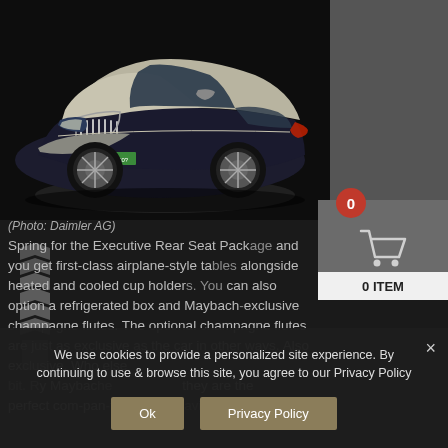[Figure (photo): Mercedes-Maybach luxury sedan (silver and black two-tone) photographed on a dark studio background. License plate reads S-MB B 20?. The car is shown from a front three-quarter angle.]
(Photo: Daimler AG)
Spring for the Executive Rear Seat Pack and you get first-class airplane-style tab alongside heated and cooled cup holder can also option a refrigerated box and Maybach exclusive champagne flutes. The optional champagne flutes are just as exclusive as the car in other ways. Also exclusive. Who else by Maybache they are the perfect com-pan-do-whi-over-lavish the
[Figure (screenshot): Shopping cart widget overlay. Red badge showing '0', cart icon, and '0 ITEM' label on gray background.]
We use cookies to provide a personalized site experience. By continuing to use & browse this site, you agree to our Privacy Policy
Ok
Privacy Policy